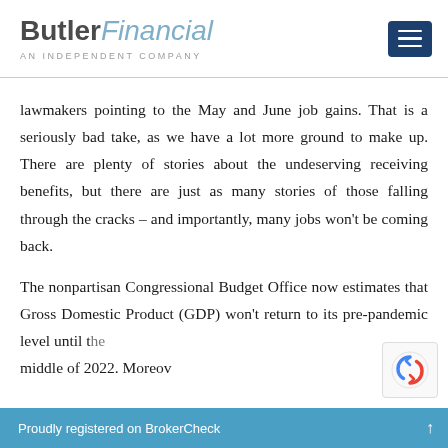ButlerFinancial — AN INDEPENDENT COMPANY
lawmakers pointing to the May and June job gains. That is a seriously bad take, as we have a lot more ground to make up. There are plenty of stories about the undeserving receiving benefits, but there are just as many stories of those falling through the cracks – and importantly, many jobs won't be coming back.
The nonpartisan Congressional Budget Office now estimates that Gross Domestic Product (GDP) won't return to its pre-pandemic level until the middle of 2022. Moreov
Proudly registered on BrokerCheck ↑